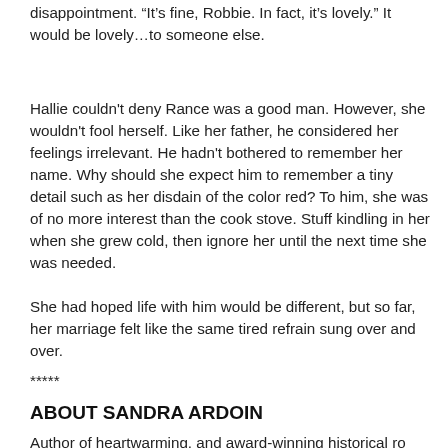disappointment. “It’s fine, Robbie. In fact, it’s lovely.” It would be lovely…to someone else.
Hallie couldn't deny Rance was a good man. However, she wouldn't fool herself. Like her father, he considered her feelings irrelevant. He hadn't bothered to remember her name. Why should she expect him to remember a tiny detail such as her disdain of the color red? To him, she was of no more interest than the cook stove. Stuff kindling in her when she grew cold, then ignore her until the next time she was needed.
She had hoped life with him would be different, but so far, her marriage felt like the same tired refrain sung over and over.
*****
ABOUT SANDRA ARDOIN
Author of heartwarming, and award-winning historical ro...